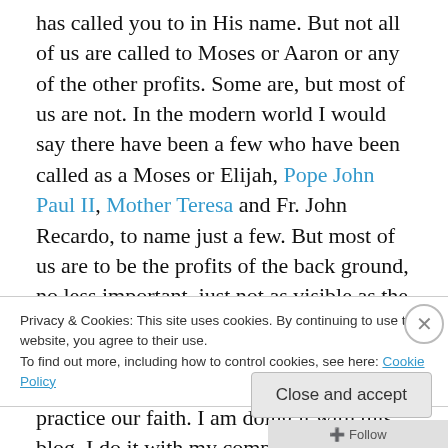has called you to in His name. But not all of us are called to Moses or Aaron or any of the other profits. Some are, but most of us are not. In the modern world I would say there have been a few who have been called as a Moses or Elijah, Pope John Paul II, Mother Teresa and Fr. John Recardo, to name just a few. But most of us are to be the profits of the back ground, no less important, just not as visible as the others. So how do we become the profit that God has called us to? We proclaim the Good New, we share our faith and we practice our faith. I am doing it with this blog. I do it with my company, STATIC Solutions, and I
Privacy & Cookies: This site uses cookies. By continuing to use this website, you agree to their use.
To find out more, including how to control cookies, see here: Cookie Policy
Close and accept